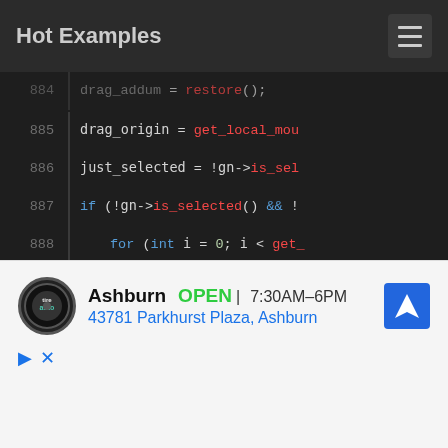Hot Examples
[Figure (screenshot): Code editor screenshot showing C++ code lines 884-898 with syntax highlighting on dark background. Lines show drag/drop selection logic with GraphNode operations.]
[Figure (infographic): Advertisement banner for Tire auto shop in Ashburn, showing OPEN status, hours 7:30AM-6PM, address 43781 Parkhurst Plaza Ashburn, with navigation icon and play/close ad controls.]